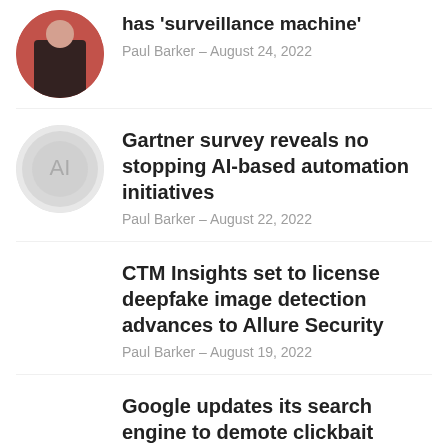has 'surveillance machine'
Paul Barker - August 24, 2022
Gartner survey reveals no stopping AI-based automation initiatives
Paul Barker - August 22, 2022
CTM Insights set to license deepfake image detection advances to Allure Security
Paul Barker - August 19, 2022
Google updates its search engine to demote clickbait
Tom Li - August 19, 2022